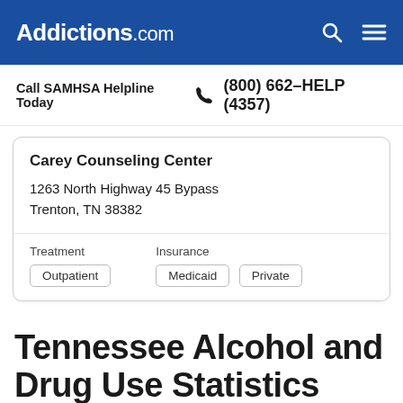Addictions.com
Call SAMHSA Helpline Today (800) 662-HELP (4357)
Carey Counseling Center
1263 North Highway 45 Bypass
Trenton, TN 38382
Treatment: Outpatient
Insurance: Medicaid, Private
Tennessee Alcohol and Drug Use Statistics
According to the Tennessee Bureau of Investigation